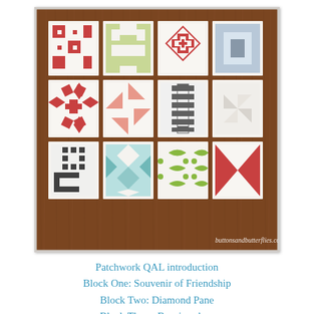[Figure (photo): Photograph of 12 quilt blocks arranged in a 4x3 grid on a dark wood surface. The blocks include various patchwork patterns in red, pink, green, gray, teal, and white fabrics. A watermark reads 'buttonsandbutterflies.com'.]
Patchwork QAL introduction
Block One: Souvenir of Friendship
Block Two: Diamond Pane
Block Three: Box-in-a-box
Block Four: Star and Cross
Block Five: Homestead Block